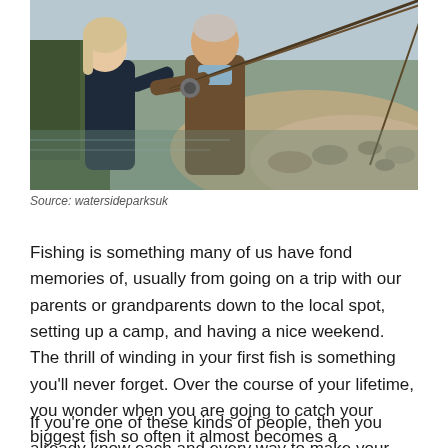[Figure (photo): Two people fishing outdoors near a rocky shoreline. An older man in a brown jacket and a younger woman in a dark puffer jacket are both holding a fishing rod together, examining it. The background shows a body of water and rocky ground.]
Source: watersideparksuk
Fishing is something many of us have fond memories of, usually from going on a trip with our parents or grandparents down to the local spot, setting up a camp, and having a nice weekend. The thrill of winding in your first fish is something you'll never forget. Over the course of your lifetime, you wonder when you are going to catch your biggest fish so often it almost becomes a competition.
If you're one of these kinds of people, then you already know each and every way to make your fishing trip enjoyable